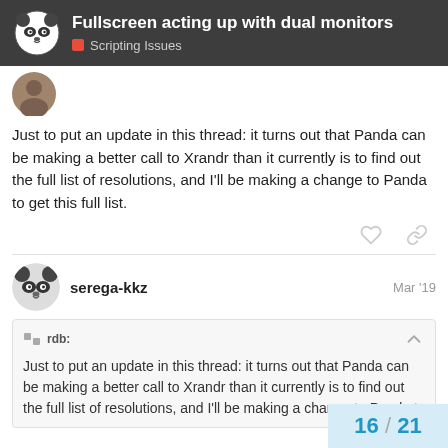Fullscreen acting up with dual monitors — Scripting Issues
Just to put an update in this thread: it turns out that Panda can be making a better call to Xrandr than it currently is to find out the full list of resolutions, and I'll be making a change to Panda to get this full list.
serega-kkz  Mar '19
rdb:
Just to put an update in this thread: it turns out that Panda can be making a better call to Xrandr than it currently is to find out the full list of resolutions, and I'll be making a change to Panda tc
16 / 21